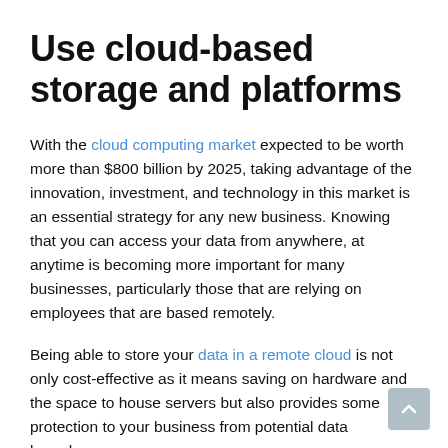Use cloud-based storage and platforms
With the cloud computing market expected to be worth more than $800 billion by 2025, taking advantage of the innovation, investment, and technology in this market is an essential strategy for any new business. Knowing that you can access your data from anywhere, at anytime is becoming more important for many businesses, particularly those that are relying on employees that are based remotely.
Being able to store your data in a remote cloud is not only cost-effective as it means saving on hardware and the space to house servers but also provides some protection to your business from potential data breaches,